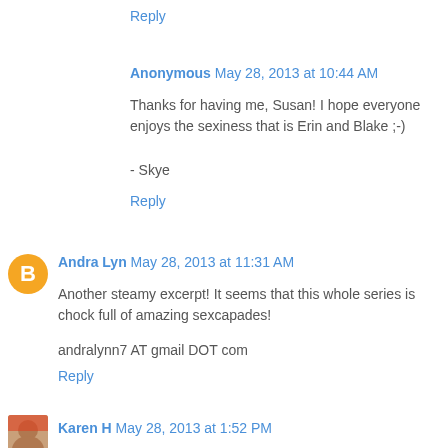Reply
Anonymous May 28, 2013 at 10:44 AM
Thanks for having me, Susan! I hope everyone enjoys the sexiness that is Erin and Blake ;-)
- Skye
Reply
Andra Lyn May 28, 2013 at 11:31 AM
Another steamy excerpt! It seems that this whole series is chock full of amazing sexcapades!
andralynn7 AT gmail DOT com
Reply
Karen H May 28, 2013 at 1:52 PM